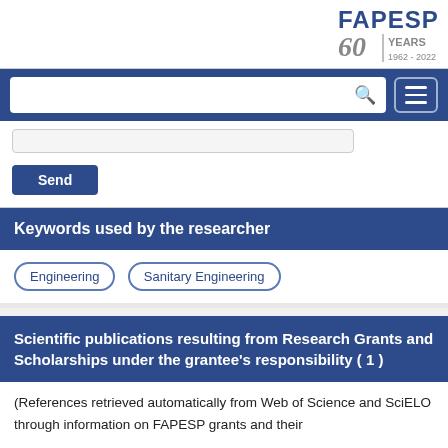[Figure (logo): FAPESP 60 Years 1962-2022 logo in top right]
[Figure (screenshot): Navigation bar with search box and hamburger menu button]
Send
Keywords used by the researcher
Engineering
Sanitary Engineering
Scientific publications resulting from Research Grants and Scholarships under the grantee's responsibility ( 1 )
(References retrieved automatically from Web of Science and SciELO through information on FAPESP grants and their